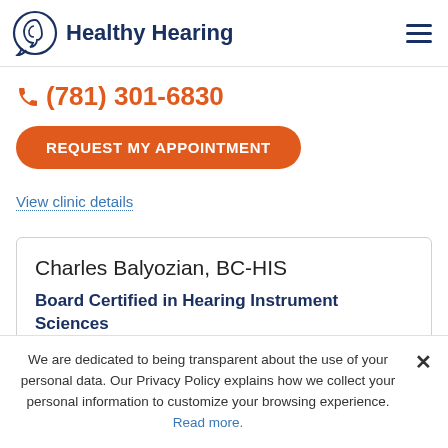Healthy Hearing
(781) 301-6830
REQUEST MY APPOINTMENT
View clinic details
Charles Balyozian, BC-HIS
Board Certified in Hearing Instrument Sciences
We are dedicated to being transparent about the use of your personal data. Our Privacy Policy explains how we collect your personal information to customize your browsing experience. Read more.